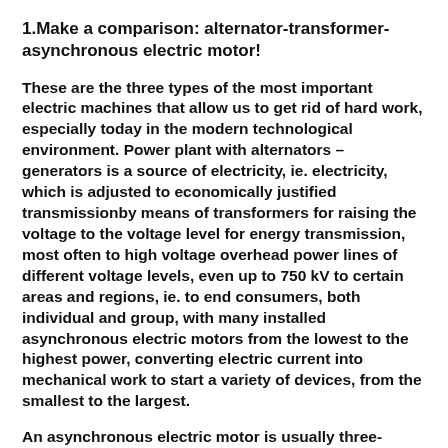1.Make a comparison: alternator-transformer-asynchronous electric motor!
These are the three types of the most important electric machines that allow us to get rid of hard work, especially today in the modern technological environment. Power plant with alternators – generators is a source of electricity, ie. electricity, which is adjusted to economically justified transmissionby means of transformers for raising the voltage to the voltage level for energy transmission, most often to high voltage overhead power lines of different voltage levels, even up to 750 kV to certain areas and regions, ie. to end consumers, both individual and group, with many installed asynchronous electric motors from the lowest to the highest power, converting electric current into mechanical work to start a variety of devices, from the smallest to the largest.
An asynchronous electric motor is usually three-phase, and less often single-phase, while an asynchronous generator is